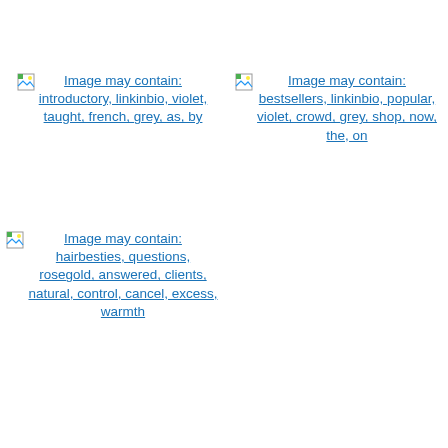[Figure (photo): Broken image placeholder with alt text: Image may contain: introductory, linkinbio, violet, taught, french, grey, as, by]
[Figure (photo): Broken image placeholder with alt text: Image may contain: bestsellers, linkinbio, popular, violet, crowd, grey, shop, now, the, on]
[Figure (photo): Broken image placeholder with alt text: Image may contain: hairbesties, questions, rosegold, answered, clients, natural, control, cancel, excess, warmth]